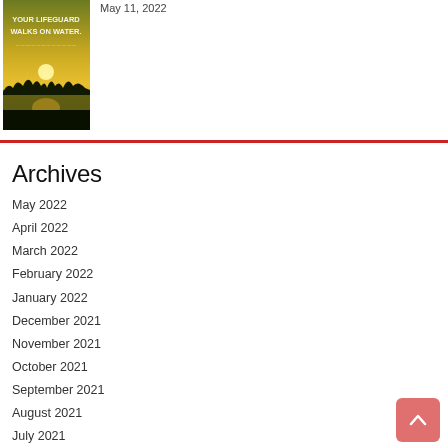[Figure (photo): Sunset over water with silhouetted trees; text overlay reads 'YOUR LIFEGUARD WALKS ON WATER']
May 11, 2022
Archives
May 2022
April 2022
March 2022
February 2022
January 2022
December 2021
November 2021
October 2021
September 2021
August 2021
July 2021